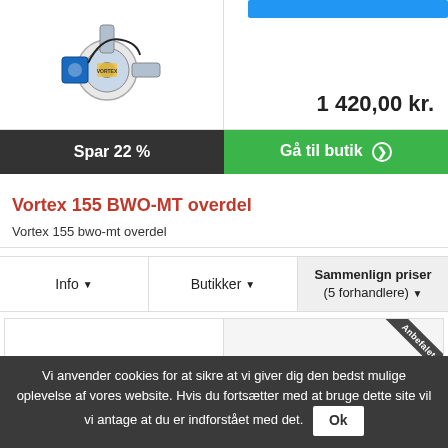[Figure (photo): Water pump product image (Vortex pump with pressure controller)]
1 420,00 kr.
Spar 22 %
Gå til butik ❯
Vortex 155 BWO-MT overdel
Vortex 155 bwo-mt overdel
Info ▼
Butikker ▼
Sammenlign priser (5 forhandlere) ▼
[Figure (photo): Second product listing with Anbefalet (recommended) badge]
Vi anvender cookies for at sikre at vi giver dig den bedst mulige oplevelse af vores website. Hvis du fortsætter med at bruge dette site vil vi antage at du er indforstået med det.
Ok